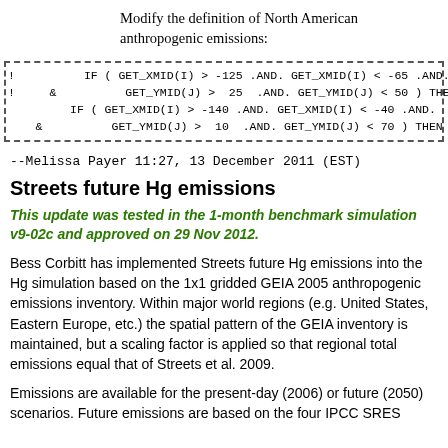Modify the definition of North American anthropogenic emissions:
--Melissa Payer 11:27, 13 December 2011 (EST)
Streets future Hg emissions
This update was tested in the 1-month benchmark simulation v9-02c and approved on 29 Nov 2012.
Bess Corbitt has implemented Streets future Hg emissions into the Hg simulation based on the 1x1 gridded GEIA 2005 anthropogenic emissions inventory. Within major world regions (e.g. United States, Eastern Europe, etc.) the spatial pattern of the GEIA inventory is maintained, but a scaling factor is applied so that regional total emissions equal that of Streets et al. 2009.
Emissions are available for the present-day (2006) or future (2050) scenarios. Future emissions are based on the four IPCC SRES